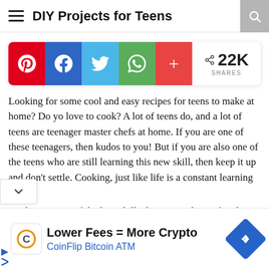DIY Projects for Teens
[Figure (infographic): Social share bar with Pinterest (red), Facebook (blue), Twitter (light blue), WhatsApp (green), More (red) buttons and 22K shares count]
Looking for some cool and easy recipes for teens to make at home? Do yo love to cook? A lot of teens do, and a lot of teens are teenager master chefs at home. If you are one of these teenagers, then kudos to you! But if you are also one of the teens who are still learning this new skill, then keep it up and don't settle. Cooking, just like life is a constant learning curve. Cooking is one of the best skills that you and your family in the
[Figure (infographic): Advertisement banner: Lower Fees = More Crypto / CoinFlip Bitcoin ATM with logo and blue diamond navigation icon]